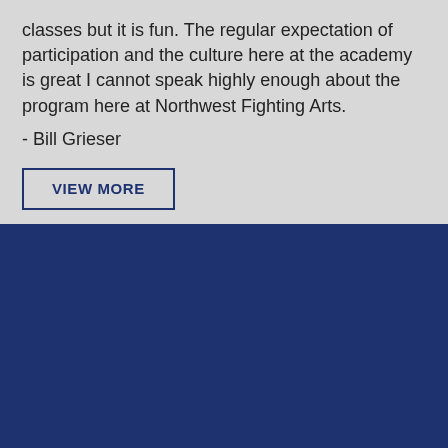classes but it is fun. The regular expectation of participation and the culture here at the academy is great I cannot speak highly enough about the program here at Northwest Fighting Arts.
- Bill Grieser
VIEW MORE